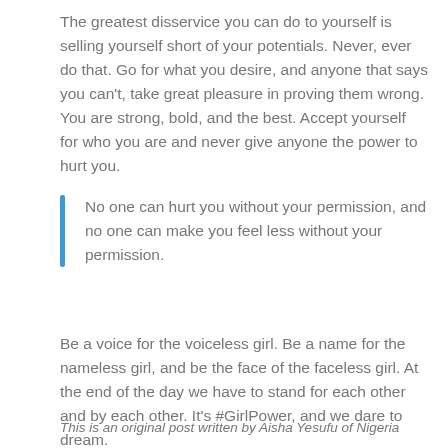The greatest disservice you can do to yourself is selling yourself short of your potentials. Never, ever do that. Go for what you desire, and anyone that says you can't, take great pleasure in proving them wrong. You are strong, bold, and the best. Accept yourself for who you are and never give anyone the power to hurt you.
No one can hurt you without your permission, and no one can make you feel less without your permission.
Be a voice for the voiceless girl. Be a name for the nameless girl, and be the face of the faceless girl. At the end of the day we have to stand for each other and by each other. It's #GirlPower, and we dare to dream.
This is an original post written by Aisha Yesufu of Nigeria